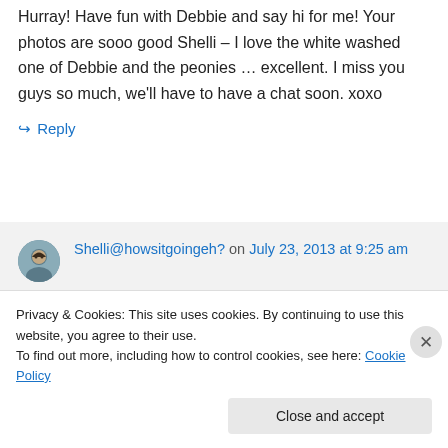Hurray! Have fun with Debbie and say hi for me! Your photos are sooo good Shelli – I love the white washed one of Debbie and the peonies … excellent. I miss you guys so much, we'll have to have a chat soon. xoxo
↪ Reply
Shelli@howsitgoingeh? on July 23, 2013 at 9:25 am
Thanks Deb, the peonies are...
Privacy & Cookies: This site uses cookies. By continuing to use this website, you agree to their use.
To find out more, including how to control cookies, see here: Cookie Policy
Close and accept